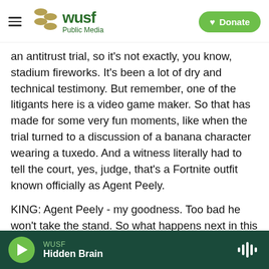WUSF Public Media | Donate
an antitrust trial, so it's not exactly, you know, stadium fireworks. It's been a lot of dry and technical testimony. But remember, one of the litigants here is a video game maker. So that has made for some very fun moments, like when the trial turned to a discussion of a banana character wearing a tuxedo. And a witness literally had to tell the court, yes, judge, that's a Fortnite outfit known officially as Agent Peely.
KING: Agent Peely - my goodness. Too bad he won't take the stand. So what happens next in this trial?
WUSF Hidden Brain